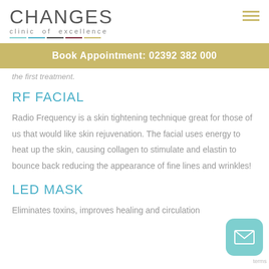CHANGES clinic of excellence
Book Appointment: 02392 382 000
the first treatment.
RF FACIAL
Radio Frequency is a skin tightening technique great for those of us that would like skin rejuvenation. The facial uses energy to heat up the skin, causing collagen to stimulate and elastin to bounce back reducing the appearance of fine lines and wrinkles!
LED MASK
Eliminates toxins, improves healing and circulation